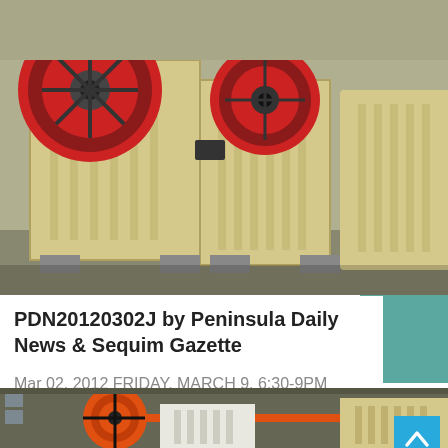[Figure (photo): Industrial jaw crushers/mining equipment in beige/cream color with large red flywheel wheels, arranged in a factory setting]
PDN20120302J by Peninsula Daily News & Sequim Gazette
Mar 02, 2012 FRIDAY, MARCH 9, 6:30-9PM SATURDAY, MARCH 10, 9:30AM-3:00PM ORCHESTRA ROOM AT PORT ANGELES HIGH...
[Figure (photo): Industrial jaw crusher equipment in white/grey color with large orange flywheel, photographed in a factory/warehouse setting]